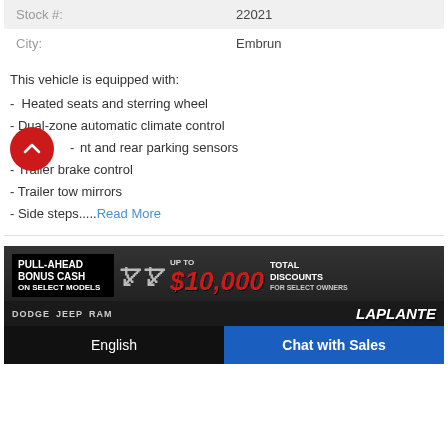| Stock #: | 22021 |
| City: | Embrun |
This vehicle is equipped with:
-  Heated seats and sterring wheel
- Dual-zone automatic climate control
- Front and rear parking sensors
- Trailer brake control
- Trailer tow mirrors
- Side steps.....Read More
[Figure (photo): Advertisement banner for Laplante dealership: PULL-AHEAD BONUS CASH ON SELECT MODELS, UP TO $10,000 TOTAL DISCOUNTS FOR SELECT OWNERS, with LAPLANTE logo, Dodge, Jeep, Ram logos, and a car image in background. Bottom bar shows English and Chat with Sales buttons.]